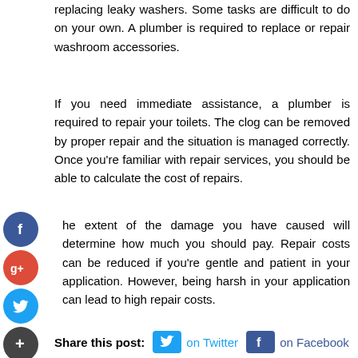replacing leaky washers. Some tasks are difficult to do on your own. A plumber is required to replace or repair washroom accessories.
If you need immediate assistance, a plumber is required to repair your toilets. The clog can be removed by proper repair and the situation is managed correctly. Once you're familiar with repair services, you should be able to calculate the cost of repairs.
The extent of the damage you have caused will determine how much you should pay. Repair costs can be reduced if you're gentle and patient in your application. However, being harsh in your application can lead to high repair costs.
[Figure (infographic): Social sharing sidebar icons: Facebook (blue circle with f), Google+ (red circle with g+), Twitter (blue circle with bird), and a dark plus/more button.]
Share this post:  on Twitter  on Facebook